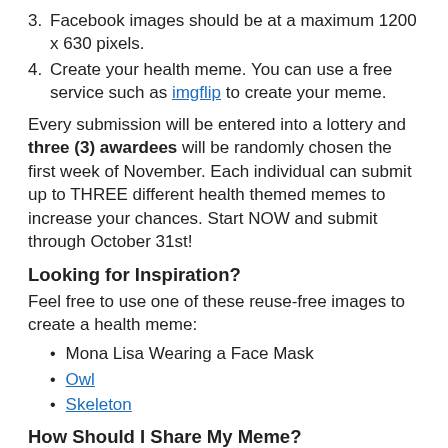3. Facebook images should be at a maximum 1200 x 630 pixels.
4. Create your health meme. You can use a free service such as imgflip to create your meme.
Every submission will be entered into a lottery and three (3) awardees will be randomly chosen the first week of November. Each individual can submit up to THREE different health themed memes to increase your chances. Start NOW and submit through October 31st!
Looking for Inspiration?
Feel free to use one of these reuse-free images to create a health meme:
Mona Lisa Wearing a Face Mask
Owl
Skeleton
How Should I Share My Meme?
Post your tweet/FB post publicly. Tag your organization and NNLM PSR and add #NNLMPSR...